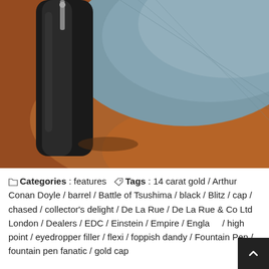[Figure (photo): Close-up blurry photo of what appears to be a dark fountain pen barrel/cap resting on an orange-brown wooden surface, with a blue-grey fabric or cloth in the background]
Categories : features   Tags : 14 carat gold / Arthur Conan Doyle / barrel / Battle of Tsushima / black / Blitz / cap / chased / collector's delight / De La Rue / De La Rue & Co Ltd London / Dealers / EDC / Einstein / Empire / England / high point / eyedropper filler / flexi / foppish dandy / Fountain Pen / fountain pen fanatic / gold cap